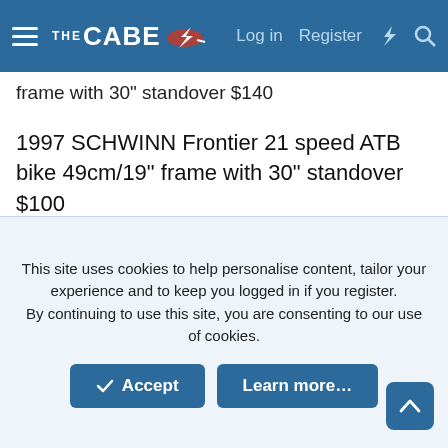THE CABE — Log in  Register
frame with 30" standover $140
1997 SCHWINN Frontier 21 speed ATB bike 49cm/19" frame with 30" standover $100
1989 GIANT Iguana 21 speed ATB bike 56cm/22" frame with 32" standover $80
1990 SCHWINN S7 KOM 21 speed ATB bike 56cm/22" frame with 31" standover $240
This site uses cookies to help personalise content, tailor your experience and to keep you logged in if you register. By continuing to use this site, you are consenting to our use of cookies.